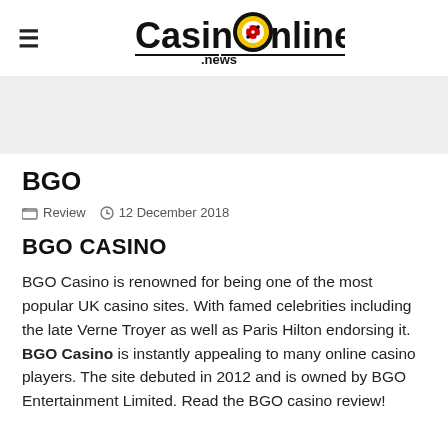CasinOnline .news
BGO
Review  12 December 2018
BGO CASINO
BGO Casino is renowned for being one of the most popular UK casino sites. With famed celebrities including the late Verne Troyer as well as Paris Hilton endorsing it. BGO Casino is instantly appealing to many online casino players. The site debuted in 2012 and is owned by BGO Entertainment Limited. Read the BGO casino review!